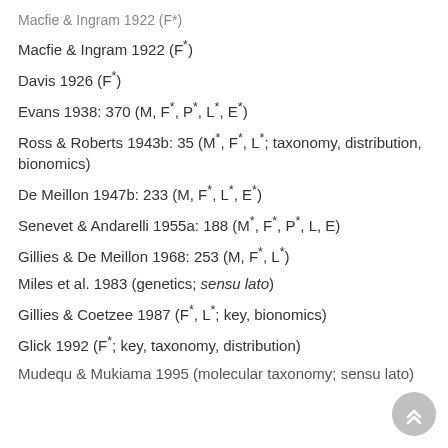Macfie & Ingram 1922 (F*)
Davis 1926 (F*)
Evans 1938: 370 (M, F*, P*, L*, E*)
Ross & Roberts 1943b: 35 (M*, F*, L*; taxonomy, distribution, bionomics)
De Meillon 1947b: 233 (M, F*, L*, E*)
Senevet & Andarelli 1955a: 188 (M*, F*, P*, L, E)
Gillies & De Meillon 1968: 253 (M, F*, L*)
Miles et al. 1983 (genetics; sensu lato)
Gillies & Coetzee 1987 (F*, L*; key, bionomics)
Glick 1992 (F*; key, taxonomy, distribution)
Mudequ & Mukiama 1995 (molecular taxonomy; sensu lato)